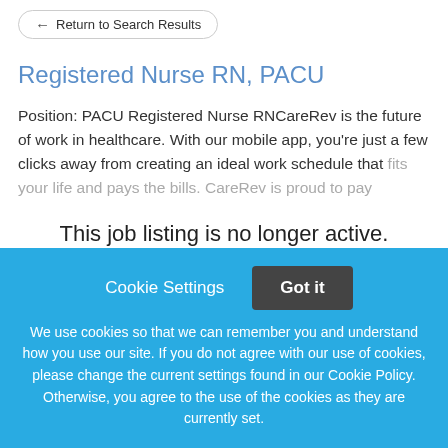Return to Search Results
Registered Nurse RN, PACU
Position: PACU Registered Nurse RNCareRev is the future of work in healthcare. With our mobile app, you're just a few clicks away from creating an ideal work schedule that fits your life and pays the bills. CareRev is proud to pay
This job listing is no longer active.
Cookie Settings
Got it
We use cookies so that we can remember you and understand how you use our site. If you do not agree with our use of cookies, please change the current settings found in our Cookie Policy. Otherwise, you agree to the use of the cookies as they are currently set.